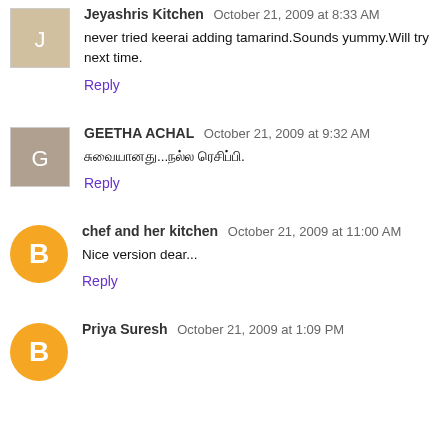Jeyashris Kitchen  October 21, 2009 at 8:33 AM
never tried keerai adding tamarind.Sounds yummy.Will try next time.
Reply
GEETHA ACHAL  October 21, 2009 at 9:32 AM
சுவையானது...நல்ல ரெசிப்பி.
Reply
chef and her kitchen  October 21, 2009 at 11:00 AM
Nice version dear...
Reply
Priya Suresh  October 21, 2009 at 1:09 PM